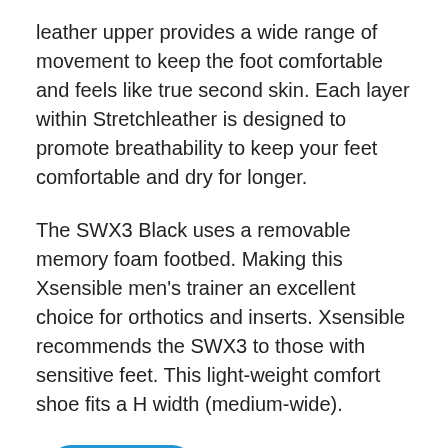leather upper provides a wide range of movement to keep the foot comfortable and feels like true second skin. Each layer within Stretchleather is designed to promote breathability to keep your feet comfortable and dry for longer.
The SWX3 Black uses a removable memory foam footbed. Making this Xsensible men's trainer an excellent choice for orthotics and inserts. Xsensible recommends the SWX3 to those with sensitive feet. This light-weight comfort shoe fits a H width (medium-wide).
F[Chat with us button]tion check out: Xsensible St[partially hidden]equently Asked Questions.